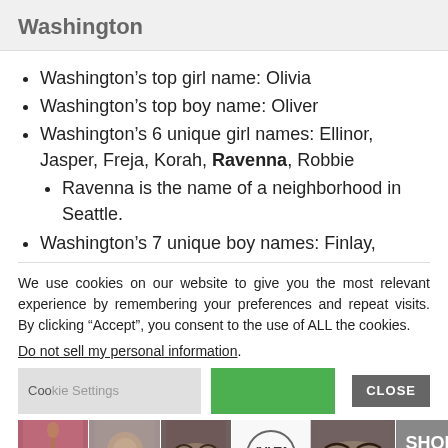Washington
Washington’s top girl name: Olivia
Washington’s top boy name: Oliver
Washington’s 6 unique girl names: Ellinor, Jasper, Freja, Korah, Ravenna, Robbie
Ravenna is the name of a neighborhood in Seattle.
Washington’s 7 unique boy names: Finlay,
We use cookies on our website to give you the most relevant experience by remembering your preferences and repeat visits. By clicking “Accept”, you consent to the use of ALL the cookies.
Do not sell my personal information.
[Figure (screenshot): Cookie consent banner with settings button, accept button, and close button, plus a cosmetics advertisement banner at the bottom showing makeup images and ULTA beauty logo with SHOP NOW text]